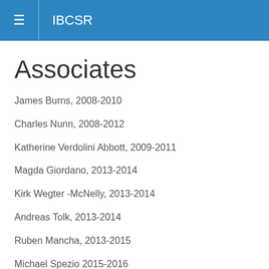≡  IBCSR
Associates
James Burns, 2008-2010
Charles Nunn, 2008-2012
Katherine Verdolini Abbott, 2009-2011
Magda Giordano, 2013-2014
Kirk Wegter -McNelly, 2013-2014
Andreas Tolk, 2013-2014
Ruben Mancha, 2013-2015
Michael Spezio 2015-2016